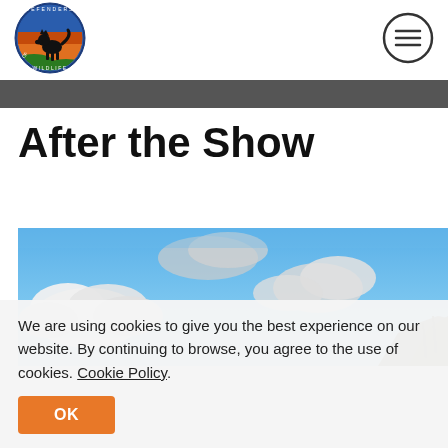[Figure (logo): Defenders of Wildlife circular logo with wolf silhouette and colorful background]
[Figure (other): Hamburger menu icon — three horizontal lines inside a circle]
After the Show
[Figure (photo): Landscape photo showing a bright blue sky with white clouds and a hillside with trees visible at lower right]
We are using cookies to give you the best experience on our website. By continuing to browse, you agree to the use of cookies. Cookie Policy. [OK button]